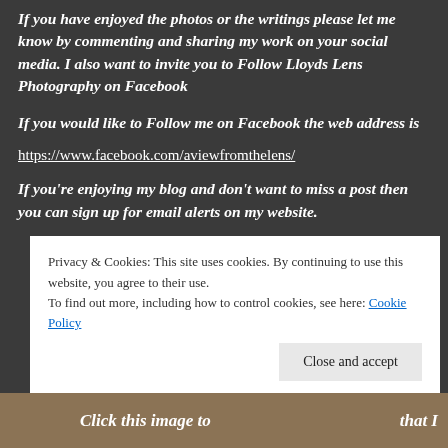If you have enjoyed the photos or the writings please let me know by commenting and sharing my work on your social media. I also want to invite you to Follow Lloyds Lens Photography on Facebook
If you would like to Follow me on Facebook the web address is
https://www.facebook.com/aviewfromthelens/
If you're enjoying my blog and don't want to miss a post then you can sign up for email alerts on my website.
Privacy & Cookies: This site uses cookies. By continuing to use this website, you agree to their use.
To find out more, including how to control cookies, see here: Cookie Policy
Close and accept
Click this image to ... that I